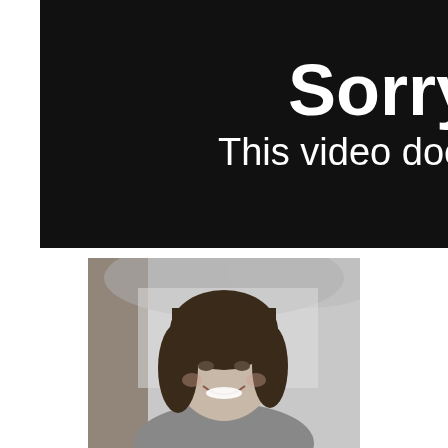[Figure (screenshot): A video unavailable/error screen with a black background showing the text 'Sorry' in large bold white font and 'This video does n' in smaller white text below it, partially cropped on the right side.]
[Figure (photo): A black and white outdoor portrait photograph of a smiling woman with dark shoulder-length hair, standing in front of a tree with foliage visible in the background.]